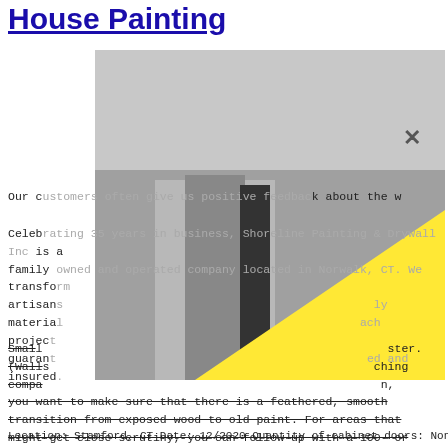House Painting
[Figure (photo): Black and white photo of a man in a white dress shirt with a polka dot tie and pocket square, overlaid with a large yellow triangle shape and a grey rectangle at the top. An X close button appears in the upper right of the overlay.]
Our customers often give us positive feedback about the w
Celebrating 35 years in business, Shoreline Painting & Drywall Inc is a family owned and operated company located in Norwalk, CT. We transform artisans dy materia ach project guaranteed and insured
Small ster. (Wall ching compa n, you want to make sure that there is a feathered, smooth transition from exposed wood to old paint. For areas that might get close scrutiny, you can follow up with a 100- or 120 grit rubdown to erase any scratches. Home Painting
Location: Stamford, CT Date: 12/2020 Quantity of cabinet doors: None/